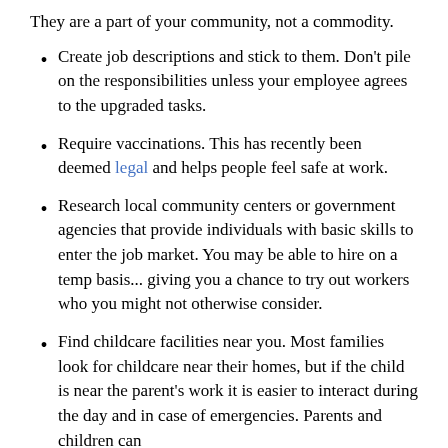They are a part of your community, not a commodity.
Create job descriptions and stick to them. Don't pile on the responsibilities unless your employee agrees to the upgraded tasks.
Require vaccinations. This has recently been deemed legal and helps people feel safe at work.
Research local community centers or government agencies that provide individuals with basic skills to enter the job market. You may be able to hire on a temp basis... giving you a chance to try out workers who you might not otherwise consider.
Find childcare facilities near you. Most families look for childcare near their homes, but if the child is near the parent's work it is easier to interact during the day and in case of emergencies. Parents and children can